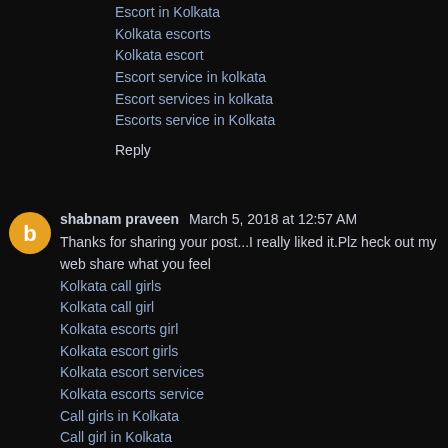Escort in Kolkata
Kolkata escorts
Kolkata escort
Escort service in kolkata
Escort services in kolkata
Escorts service in Kolkata
Reply
shabnam praveen  March 5, 2018 at 12:57 AM
Thanks for sharing your post...I really liked it.Plz heck out my web share what you feel
Kolkata call girls
Kolkata call girl
Kolkata escorts girl
Kolkata escort girls
Kolkata escort services
Kolkata escorts service
Call girls in Kolkata
Call girl in Kolkata
Escorts in Kolkata
Escort in Kolkata
Kolkata escorts
Kolkata escort
Escort service in kolkata
Escort services in kolkata
Escorts service in Kolkata
Reply